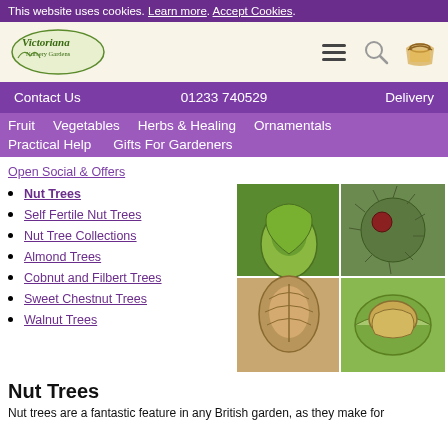This website uses cookies. Learn more. Accept Cookies.
[Figure (logo): Victoriana Nursery Gardens logo with green leaf motif]
Contact Us  01233 740529  Delivery
Fruit  Vegetables  Herbs & Healing  Ornamentals  Practical Help  Gifts For Gardeners
Open Social & Offers
Nut Trees
Self Fertile Nut Trees
Nut Tree Collections
Almond Trees
Cobnut and Filbert Trees
Sweet Chestnut Trees
Walnut Trees
[Figure (photo): Four-panel photo grid showing hazelnuts, sweet chestnut burr, almond, and walnut]
Nut Trees
Nut trees are a fantastic feature in any British garden, as they make for